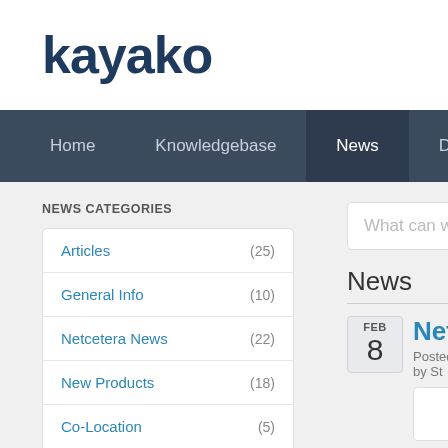kayako
Home | Knowledgebase | News | Downloads
NEWS CATEGORIES
Articles (25)
General Info (10)
Netcetera News (22)
New Products (18)
Co-Location (5)
Press Releases (8)
Dedicated Servers (16)
What can we h
News
FEB 8 - Netce... Posted by St...